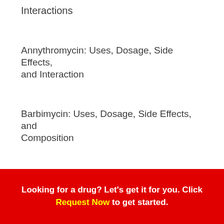Interactions
Annythromycin: Uses, Dosage, Side Effects, and Interaction
Barbimycin: Uses, Dosage, Side Effects, and Composition
Biomeryth: Uses, Dosage, Side Effects and Composition
Cikamycin: Uses, Dosage, Side Effects, and Composition
Looking for a drug? Let's get it for you. Click Request Now to get started.